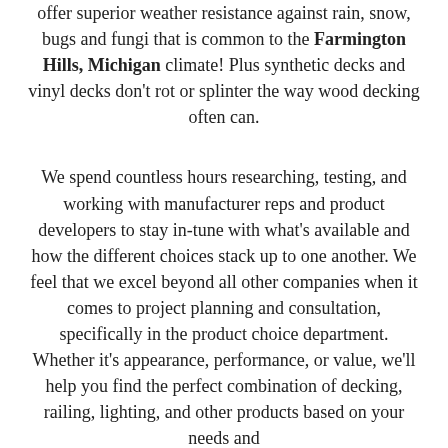offer superior weather resistance against rain, snow, bugs and fungi that is common to the Farmington Hills, Michigan climate! Plus synthetic decks and vinyl decks don't rot or splinter the way wood decking often can.
We spend countless hours researching, testing, and working with manufacturer reps and product developers to stay in-tune with what's available and how the different choices stack up to one another. We feel that we excel beyond all other companies when it comes to project planning and consultation, specifically in the product choice department. Whether it's appearance, performance, or value, we'll help you find the perfect combination of decking, railing, lighting, and other products based on your needs and